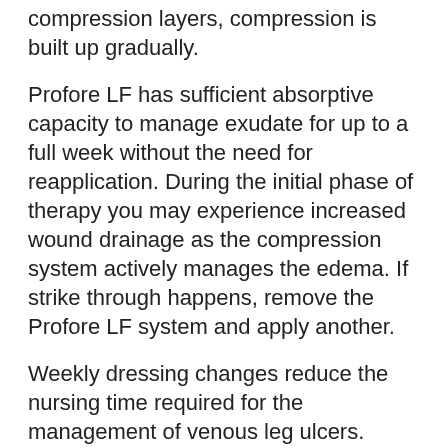compression layers, compression is built up gradually.
Profore LF has sufficient absorptive capacity to manage exudate for up to a full week without the need for reapplication. During the initial phase of therapy you may experience increased wound drainage as the compression system actively manages the edema. If strike through happens, remove the Profore LF system and apply another.
Weekly dressing changes reduce the nursing time required for the management of venous leg ulcers. Studies have shown that the multi-layer compression bandage system provides significant savings in cost of care.
Profore LF system pack contains everything necessary for the application of effective graduated compression therapy. Profore LF reduces preparation time, simplifies stock